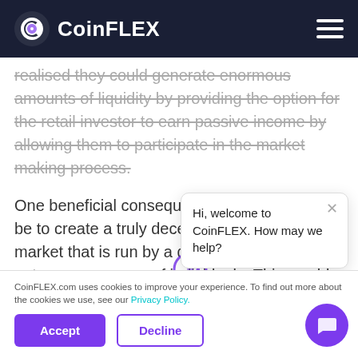CoinFLEX
realised they could generate enormous amounts of liquidity by providing the option for the retail investor to earn passive income by allowing them to participate in the market making process.
One beneficial consequence of AMMs would be to create a truly decentralized financial market that is run by a decentralized and autonomous group of individuals. This would create a viable alternative to the heavily controlled, corrupted, and manipulated traditional financial sys…
CoinFLEX.com uses cookies to improve your experience. To find out more about the cookies we use, see our Privacy Policy.
Hi, welcome to CoinFLEX. How may we help?